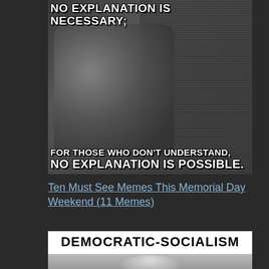[Figure (photo): Meme image showing an older veteran with white beard touching the Vietnam Veterans Memorial wall, with text overlay: 'NO EXPLANATION IS NECESSARY; FOR THOSE WHO DON'T UNDERSTAND, NO EXPLANATION IS POSSIBLE.']
Ten Must See Memes This Memorial Day Weekend (11 Memes)
[Figure (photo): Meme image with text 'DEMOCRATIC-SOCIALISM' at top in bold black lettering on white background, with a person visible below.]